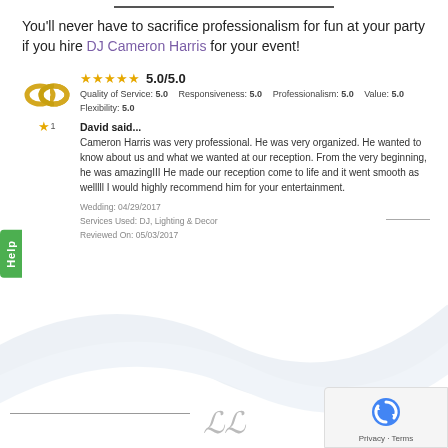You'll never have to sacrifice professionalism for fun at your party if you hire DJ Cameron Harris for your event!
[Figure (illustration): Wedding rings icon with a gold star badge showing '1' underneath]
5.0/5.0
Quality of Service: 5.0  Responsiveness: 5.0  Professionalism: 5.0  Value: 5.0
Flexibility: 5.0
David said...
Cameron Harris was very professional. He was very organized. He wanted to know about us and what we wanted at our reception. From the very beginning, he was amazingIII He made our reception come to life and it went smooth as welllll I would highly recommend him for your entertainment.
Wedding: 04/29/2017
Services Used: DJ, Lighting & Decor
Reviewed On: 05/03/2017